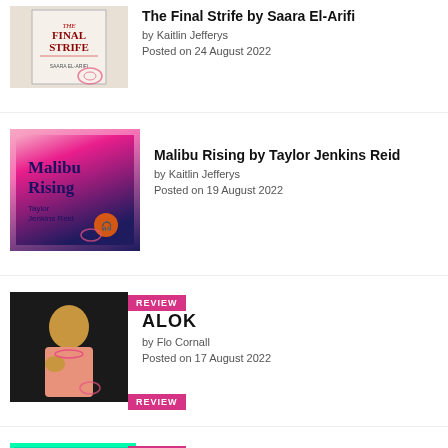[Figure (photo): Book cover for The Final Strife by Saara El-Arifi]
The Final Strife by Saara El-Arifi
by Kaitlin Jefferys
Posted on 24 August 2022
[Figure (photo): Book cover for Malibu Rising by Taylor Jenkins Reid with REVIEW badge]
Malibu Rising by Taylor Jenkins Reid
by Kaitlin Jefferys
Posted on 19 August 2022
[Figure (photo): Photo of ALOK with REVIEW badge]
ALOK
by Flo Cornall
Posted on 17 August 2022
[Figure (photo): Book cover partial for An Emotion of Great Delight with REVIEW badge and accessibility icon]
An Emotion of Great Delight by